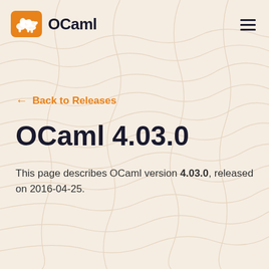OCaml
← Back to Releases
OCaml 4.03.0
This page describes OCaml version 4.03.0, released on 2016-04-25.